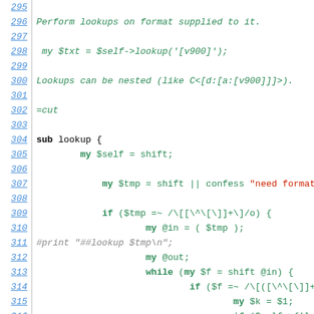295-317: Perl source code showing lookup subroutine implementation